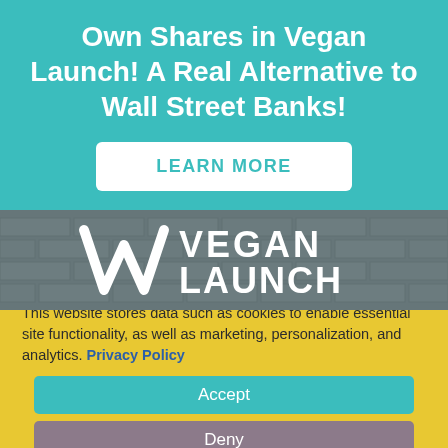Own Shares in Vegan Launch! A Real Alternative to Wall Street Banks!
LEARN MORE
[Figure (logo): Vegan Launch logo with stylized V/M icon and text 'VEGAN LAUNCH' on a brick wall background]
This website stores data such as cookies to enable essential site functionality, as well as marketing, personalization, and analytics. Privacy Policy
Accept
Deny